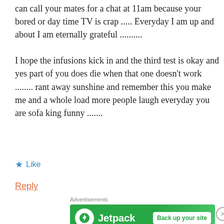can call your mates for a chat at 11am because your bored or day time TV is crap ..... Everyday I am up and about I am eternally grateful .......... I hope the infusions kick in and the third test is okay and yes part of you does die when that one doesn't work ........ rant away sunshine and remember this you make me and a whole load more people laugh everyday you are sofa king funny .......
★ Like
Reply
Advertisements
[Figure (other): Jetpack advertisement banner with green background, Jetpack logo and 'Back up your site' button]
Advertisements
[Figure (other): Pocket Casts podcast advertisement with dark device screenshot, text 'Your next favorite podcast is here.' and Pocket Casts logo]